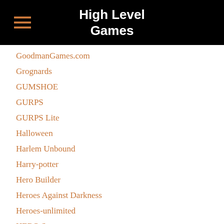High Level Games
GoodmanGames.com
Grognards
GUMSHOE
GURPS
GURPS Lite
Halloween
Harlem Unbound
Harry-potter
Hero Builder
Heroes Against Darkness
Heroes-unlimited
HERO System
High Level Games
Historical Fantasy
HLG Con 2018
HLG Review